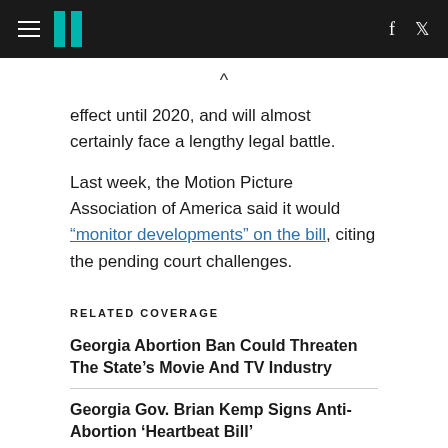HuffPost navigation
effect until 2020, and will almost certainly face a lengthy legal battle.
Last week, the Motion Picture Association of America said it would “monitor developments” on the bill, citing the pending court challenges.
RELATED COVERAGE
Georgia Abortion Ban Could Threaten The State’s Movie And TV Industry
Georgia Gov. Brian Kemp Signs Anti-Abortion ‘Heartbeat Bill’